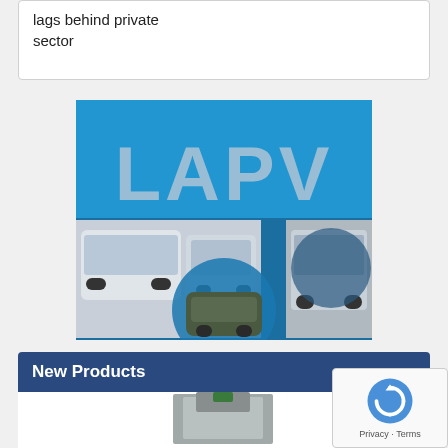lags behind private sector
[Figure (photo): LAPV banner advertisement showing large text 'LAPV' on blue background with photos of buses, a military vehicle, and a truck]
New Products
[Figure (photo): Product image showing what appears to be a concrete or metal product/equipment, partially visible at bottom of page]